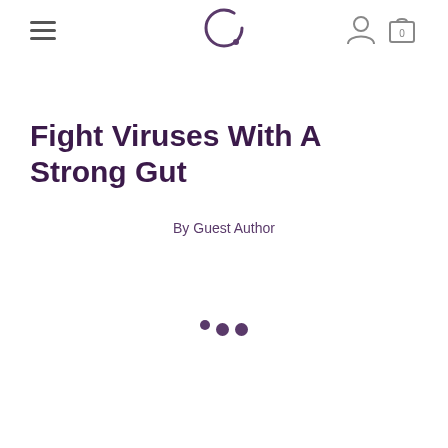Navigation header with hamburger menu, circular logo, user icon, and shopping cart (0)
Fight Viruses With A Strong Gut
By Guest Author
[Figure (other): Loading indicator with three dots of varying sizes arranged in a staggered pattern]